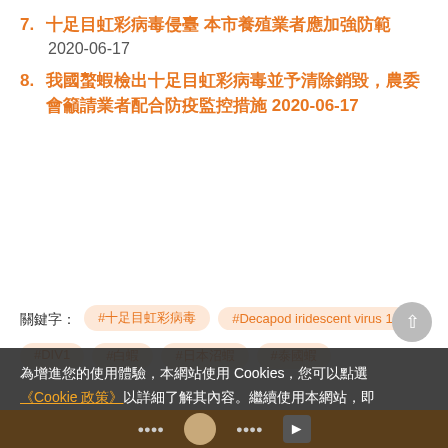7. 十足目虹彩病毒侵臺 本市養殖業者應加強防範 2020-06-17
8. 我國螯蝦檢出十足目虹彩病毒並予清除銷毀，農委會籲請業者配合防疫監控措施 2020-06-17
關鍵字： #十足目虹彩病毒  #Decapod iridescent virus 1  #DIV1  #白蝦  #日本沼蝦  #泰國蝦
為增進您的使用體驗，本網站使用 Cookies，您可以點選《Cookie 政策》以詳細了解其內容。繼續使用本網站，即表明同意我們使用的 Cookies。
接受所有Cookie政策